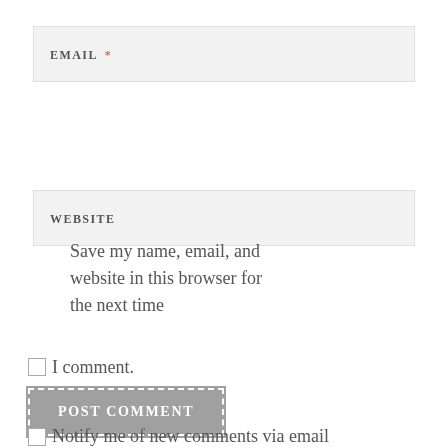EMAIL *
WEBSITE
Save my name, email, and website in this browser for the next time I comment.
POST COMMENT
Notify me of new comments via email